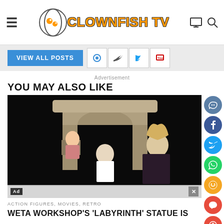CLOWNFISH TV
VIEW ALL POSTS
Advertisement
YOU MAY ALSO LIKE
[Figure (photo): Scene photo with characters in costume against a stone arch backdrop. A baby in pink striped outfit sits on top, a woman in white stands center, and a woman with wild blonde hair in black leather stands to the right.]
Ad
ACTION FIGURES, MOVIES, RETRO
WETA Workshop's 'Labyrinth' Statue is